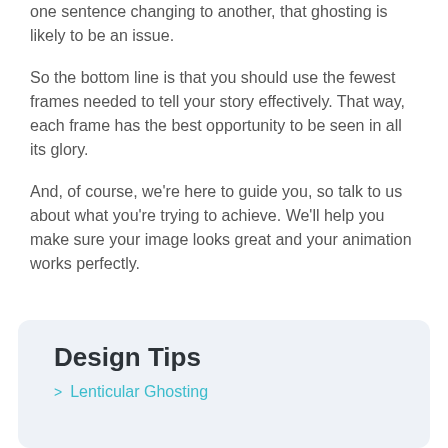one sentence changing to another, that ghosting is likely to be an issue.
So the bottom line is that you should use the fewest frames needed to tell your story effectively. That way, each frame has the best opportunity to be seen in all its glory.
And, of course, we're here to guide you, so talk to us about what you're trying to achieve. We'll help you make sure your image looks great and your animation works perfectly.
Design Tips
Lenticular Ghosting